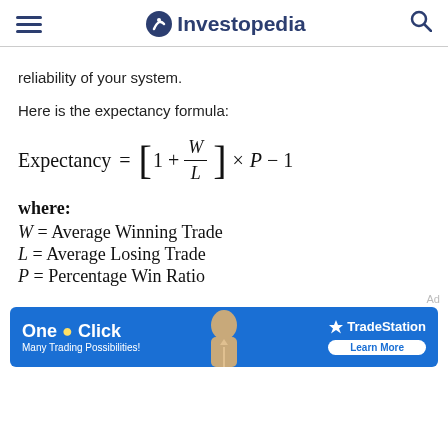Investopedia
reliability of your system.
Here is the expectancy formula:
where:
W = Average Winning Trade
L = Average Losing Trade
P = Percentage Win Ratio
[Figure (other): TradeStation advertisement banner: One Click - Many Trading Possibilities! TradeStation Learn More]